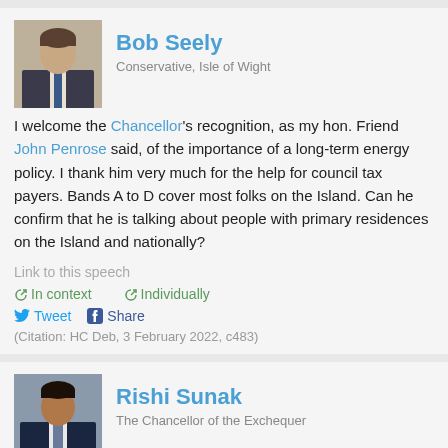Bob Seely
Conservative, Isle of Wight
I welcome the Chancellor's recognition, as my hon. Friend John Penrose said, of the importance of a long-term energy policy. I thank him very much for the help for council tax payers. Bands A to D cover most folks on the Island. Can he confirm that he is talking about people with primary residences on the Island and nationally?
Link to this speech
In context   Individually
Tweet  Share
(Citation: HC Deb, 3 February 2022, c483)
Rishi Sunak
The Chancellor of the Exchequer
My hon. Friend makes an excellent point. I confirm that the £150 is not for those with second homes or empty homes. We will make the payment to those in primary residences only.